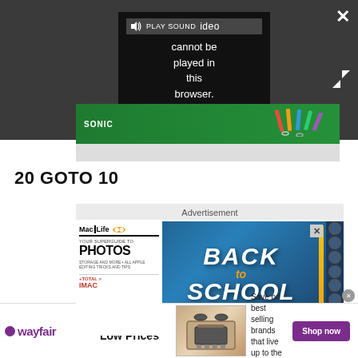[Figure (screenshot): Video player overlay on dark gray background showing error message 'Video cannot be played in this browser. (Error Cod' with PLAY SOUND button and close/expand controls. Below is a Sonic-branded banner with school supplies on green background.]
20 GOTO 10
Advertisement
[Figure (screenshot): Mac Life magazine Back to School Subscription Sale advertisement with magazine cover showing 'YOUR SUPERGUIDE TO PHOTOS' on the left and bold 'BACK to SCHOOL SUBSCRIPTION SALE' text on blue/teal background with notebook spiral on the right.]
[Figure (screenshot): Wayfair advertisement banner: 'Top Appliances Low Prices' with wayfair logo, image of a stove/range appliance, and 'Save on best selling brands that live up to the hype' with purple 'Shop now' button.]